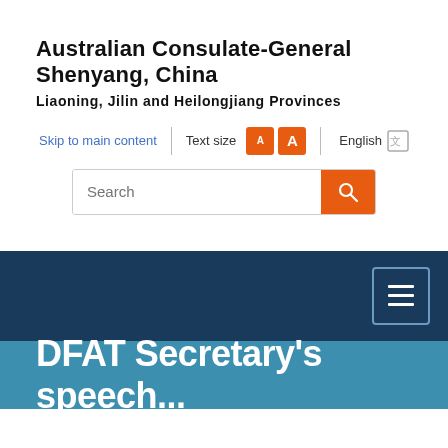Australian Consulate-General Shenyang, China
Liaoning, Jilin and Heilongjiang Provinces
DFAT Secretary's speech...